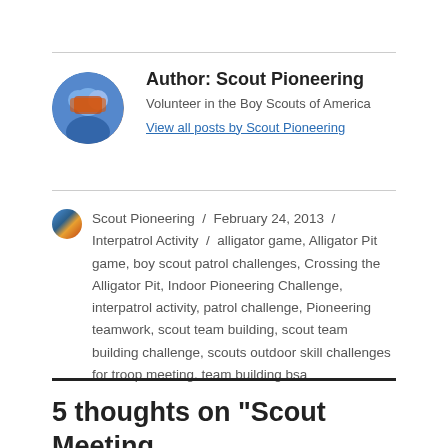Author: Scout Pioneering
Volunteer in the Boy Scouts of America
View all posts by Scout Pioneering
Scout Pioneering / February 24, 2013 / Interpatrol Activity / alligator game, Alligator Pit game, boy scout patrol challenges, Crossing the Alligator Pit, Indoor Pioneering Challenge, interpatrol activity, patrol challenge, Pioneering teamwork, scout team building, scout team building challenge, scouts outdoor skill challenges for troop meeting, team building bsa
5 thoughts on “Scout Meeting